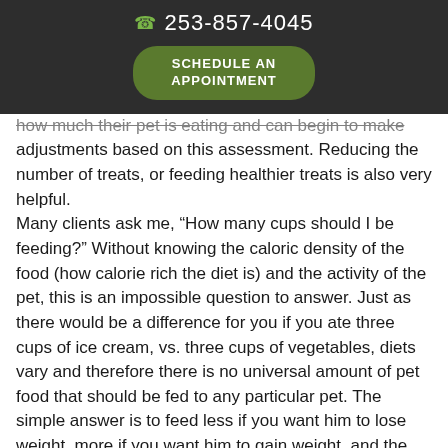253-857-4045 | SCHEDULE AN APPOINTMENT
how much their pet is eating and can begin to make adjustments based on this assessment. Reducing the number of treats, or feeding healthier treats is also very helpful.
Many clients ask me, “How many cups should I be feeding?” Without knowing the caloric density of the food (how calorie rich the diet is) and the activity of the pet, this is an impossible question to answer. Just as there would be a difference for you if you ate three cups of ice cream, vs. three cups of vegetables, diets vary and therefore there is no universal amount of pet food that should be fed to any particular pet. The simple answer is to feed less if you want him to lose weight, more if you want him to gain weight, and the same amount if he is already at his ideal weight. Again, knowing, how much you are feeding is crucial to being able to make adjustments.